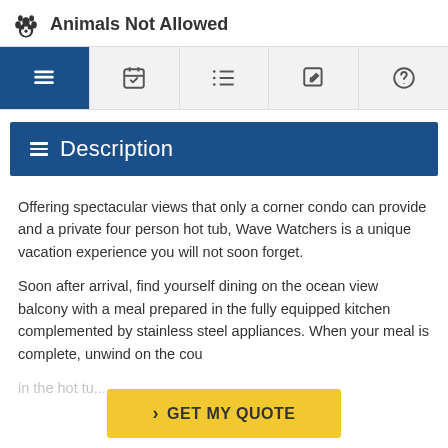Animals Not Allowed
Description
Offering spectacular views that only a corner condo can provide and a private four person hot tub, Wave Watchers is a unique vacation experience you will not soon forget.
Soon after arrival, find yourself dining on the ocean view balcony with a meal prepared in the fully equipped kitchen complemented by stainless steel appliances. When your meal is complete, unwind on the condo... in the hot tub...
> GET MY QUOTE